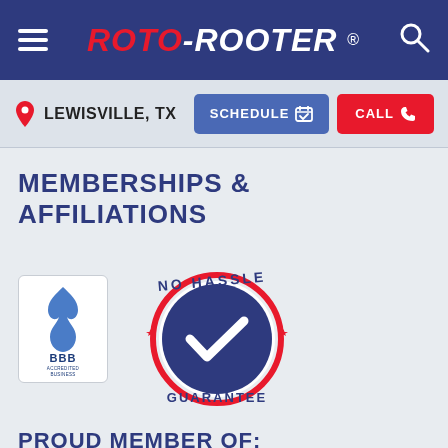ROTO-ROOTER
LEWISVILLE, TX
MEMBERSHIPS & AFFILIATIONS
[Figure (logo): BBB Accredited Business logo with blue flame symbol]
[Figure (logo): No Hassle Guarantee badge - circular badge with checkmark in water drop, red and blue colors, stars on sides]
PROUD MEMBER OF:
PHCC